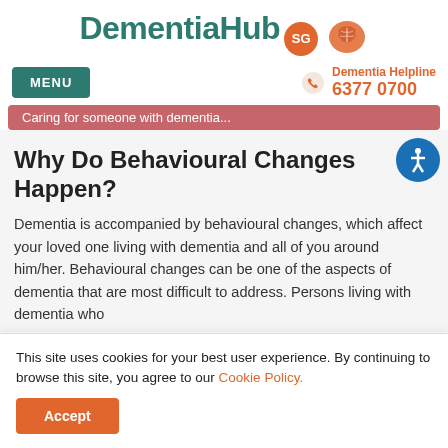[Figure (logo): DementiahHub.sg logo with teal and grey text, orange SG badge, and brain icon]
MENU | Dementia Helpline 6377 0700
Caring for someone with dementia...
Why Do Behavioural Changes Happen?
Dementia is accompanied by behavioural changes, which affect your loved one living with dementia and all of you around him/her. Behavioural changes can be one of the aspects of dementia that are most difficult to address. Persons living with dementia who...
This site uses cookies for your best user experience. By continuing to browse this site, you agree to our Cookie Policy.
Accept